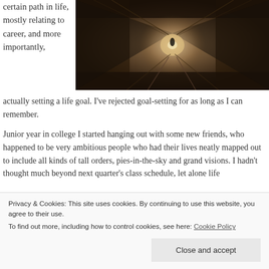certain path in life, mostly relating to career, and more importantly, actually setting a life goal. I've rejected goal-setting for as long as I can remember.
[Figure (photo): A dark narrow corridor or tunnel with stone walls receding into the distance, lit from the far end, sepia/dark brown tones.]
Junior year in college I started hanging out with some new friends, who happened to be very ambitious people who had their lives neatly mapped out to include all kinds of tall orders, pies-in-the-sky and grand visions. I hadn't thought much beyond next quarter's class schedule, let alone life
Privacy & Cookies: This site uses cookies. By continuing to use this website, you agree to their use.
To find out more, including how to control cookies, see here: Cookie Policy